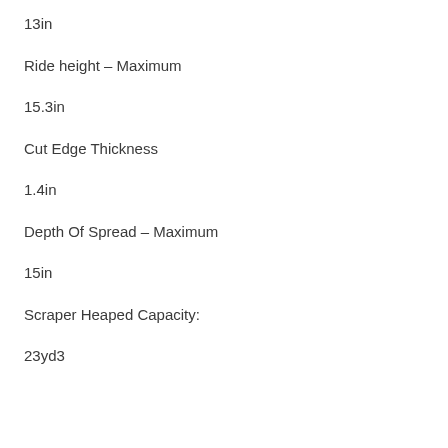13in
Ride height – Maximum
15.3in
Cut Edge Thickness
1.4in
Depth Of Spread – Maximum
15in
Scraper Heaped Capacity:
23yd3